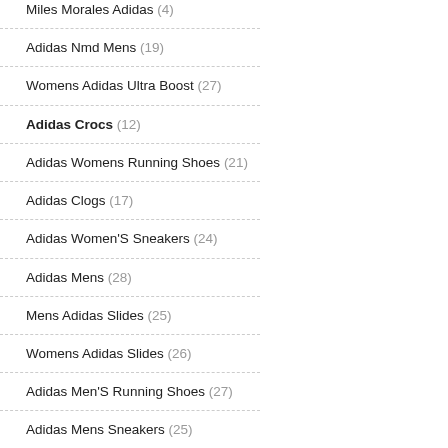Miles Morales Adidas (4)
Adidas Nmd Mens (19)
Womens Adidas Ultra Boost (27)
Adidas Crocs (12)
Adidas Womens Running Shoes (21)
Adidas Clogs (17)
Adidas Women'S Sneakers (24)
Adidas Mens (28)
Mens Adidas Slides (25)
Womens Adidas Slides (26)
Adidas Men'S Running Shoes (27)
Adidas Mens Sneakers (25)
Adidas Ultra Boost Shoes (28)
Women'S Adidas Swift Run (21)
Black Adidas Shoes Womens (21)
Adidas Basketball Shoes (19)